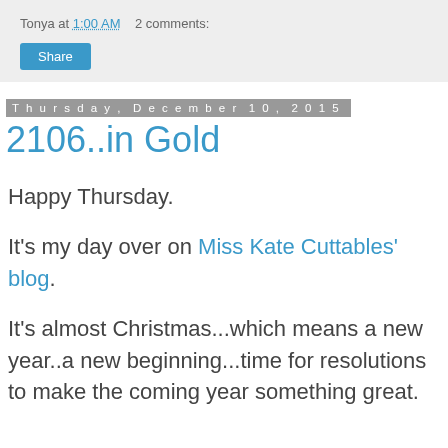Tonya at 1:00 AM   2 comments:
Share
Thursday, December 10, 2015
2106..in Gold
Happy Thursday.
It's my day over on Miss Kate Cuttables' blog.
It's almost Christmas...which means a new year..a new beginning...time for resolutions to make the coming year something great.